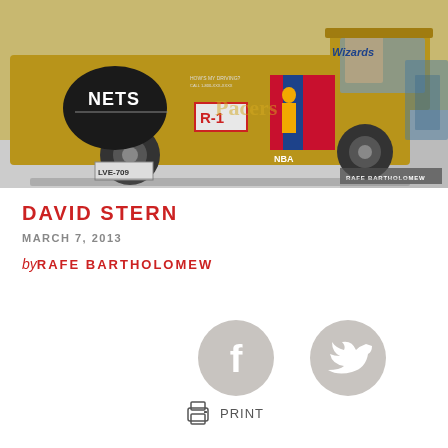[Figure (photo): A gold/yellow van covered with NBA team stickers including Nets and Wizards logos, NBA logo, and an R-1 sticker. License plate reads LVE-709. Photo credit: Rafe Bartholomew.]
DAVID STERN
MARCH 7, 2013
by RAFE BARTHOLOMEW
[Figure (other): Facebook social share icon (circular grey button with white F)]
[Figure (other): Twitter social share icon (circular grey button with white bird)]
PRINT